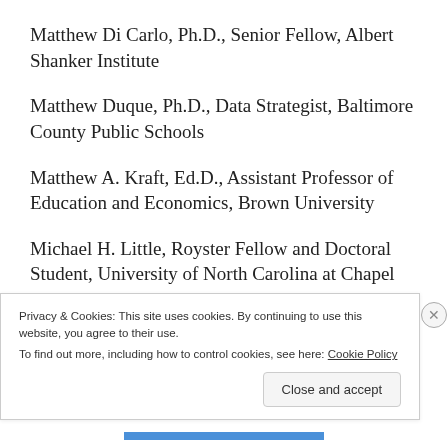Matthew Di Carlo, Ph.D., Senior Fellow, Albert Shanker Institute
Matthew Duque, Ph.D., Data Strategist, Baltimore County Public Schools
Matthew A. Kraft, Ed.D., Assistant Professor of Education and Economics, Brown University
Michael H. Little, Royster Fellow and Doctoral Student, University of North Carolina at Chapel Hill
Privacy & Cookies: This site uses cookies. By continuing to use this website, you agree to their use.
To find out more, including how to control cookies, see here: Cookie Policy